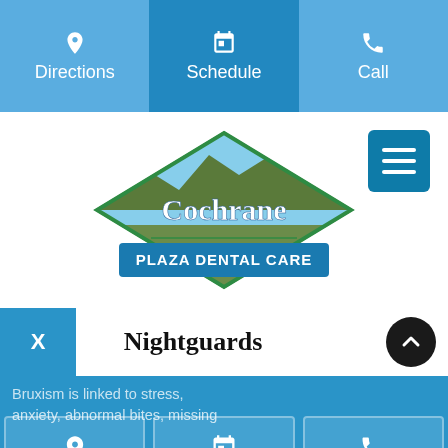[Figure (screenshot): Website navigation bar with Directions, Schedule, and Call buttons on a light blue background. Schedule button highlighted in darker blue.]
[Figure (logo): Cochrane Plaza Dental Care logo: diamond shape with mountain/hill landscape photo inside, green diamond border, blue banner below reading PLAZA DENTAL CARE]
Nightguards
Bruxism is linked to stress, anxiety, abnormal bites, missing teeth, or crooked teeth.
[Figure (screenshot): Bottom navigation bar with location, calendar, and phone icons on blue background]